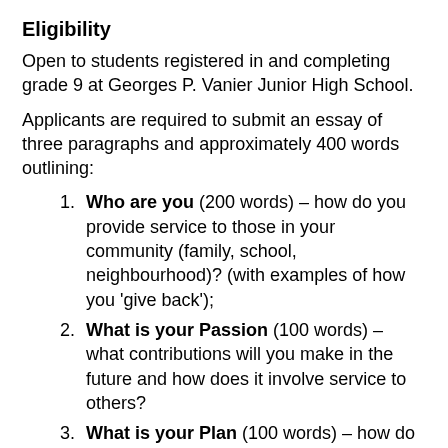Eligibility
Open to students registered in and completing grade 9 at Georges P. Vanier Junior High School.
Applicants are required to submit an essay of three paragraphs and approximately 400 words outlining:
Who are you (200 words) – how do you provide service to those in your community (family, school, neighbourhood)? (with examples of how you 'give back');
What is your Passion (100 words) – what contributions will you make in the future and how does it involve service to others?
What is your Plan (100 words) – how do